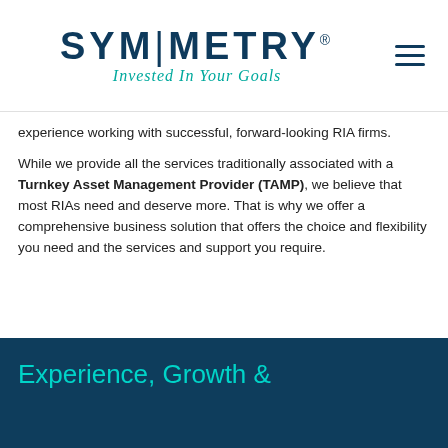[Figure (logo): Symmetry logo with wordmark 'SYM|METRY' in dark teal and tagline 'Invested In Your Goals' in teal italic, plus hamburger menu icon]
experience working with successful, forward-looking RIA firms.
While we provide all the services traditionally associated with a Turnkey Asset Management Provider (TAMP), we believe that most RIAs need and deserve more. That is why we offer a comprehensive business solution that offers the choice and flexibility you need and the services and support you require.
Experience, Growth &